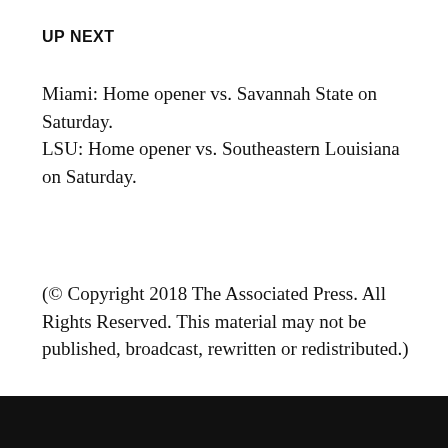UP NEXT
Miami: Home opener vs. Savannah State on Saturday.
LSU: Home opener vs. Southeastern Louisiana on Saturday.
(© Copyright 2018 The Associated Press. All Rights Reserved. This material may not be published, broadcast, rewritten or redistributed.)